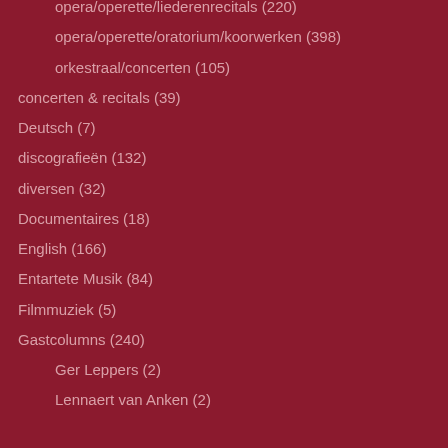opera/operette/liederenrecitals (220)
opera/operette/oratorium/koorwerken (398)
orkestraal/concerten (105)
concerten & recitals (39)
Deutsch (7)
discografieën (132)
diversen (32)
Documentaires (18)
English (166)
Entartete Musik (84)
Filmmuziek (5)
Gastcolumns (240)
Ger Leppers (2)
Lennaert van Anken (2)